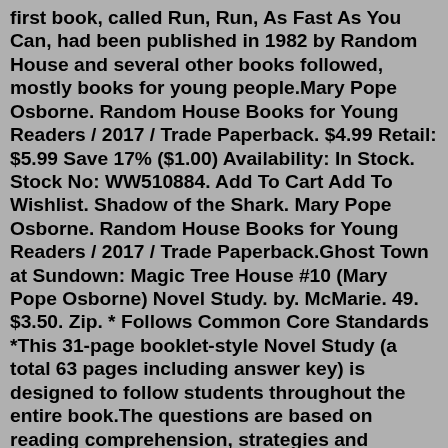first book, called Run, Run, As Fast As You Can, had been published in 1982 by Random House and several other books followed, mostly books for young people.Mary Pope Osborne. Random House Books for Young Readers / 2017 / Trade Paperback. $4.99 Retail: $5.99 Save 17% ($1.00) Availability: In Stock. Stock No: WW510884. Add To Cart Add To Wishlist. Shadow of the Shark. Mary Pope Osborne. Random House Books for Young Readers / 2017 / Trade Paperback.Ghost Town at Sundown: Magic Tree House #10 (Mary Pope Osborne) Novel Study. by. McMarie. 49. $3.50. Zip. * Follows Common Core Standards *This 31-page booklet-style Novel Study (a total 63 pages including answer key) is designed to follow students throughout the entire book.The questions are based on reading comprehension, strategies and skills.MARY POPE OSBORNE is an ardent advocate and supporter of children's literacy, and the award-winning author of more than 100 books for children and young adults, including novels, retelling from mythology and folklore, picture books,